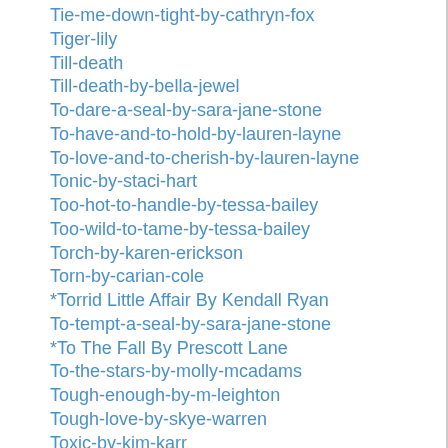Tie-me-down-tight-by-cathryn-fox
Tiger-lily
Till-death
Till-death-by-bella-jewel
To-dare-a-seal-by-sara-jane-stone
To-have-and-to-hold-by-lauren-layne
To-love-and-to-cherish-by-lauren-layne
Tonic-by-staci-hart
Too-hot-to-handle-by-tessa-bailey
Too-wild-to-tame-by-tessa-bailey
Torch-by-karen-erickson
Torn-by-carian-cole
*Torrid Little Affair By Kendall Ryan
To-tempt-a-seal-by-sara-jane-stone
*To The Fall By Prescott Lane
To-the-stars-by-molly-mcadams
Tough-enough-by-m-leighton
Tough-love-by-skye-warren
Toxic-by-kim-karr
*Toying With Her By Prescott Lane
Trashed-by-jasinda-wilder
Trust-by-jana-aston